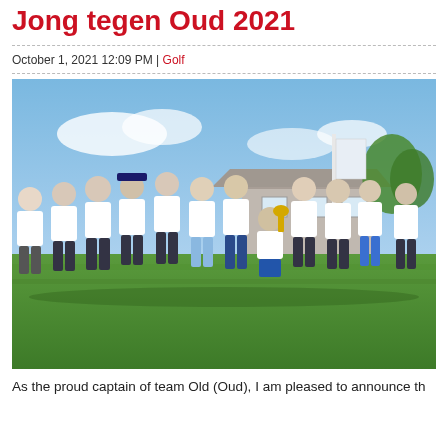Jong tegen Oud 2021
October 1, 2021 12:09 PM | Golf
[Figure (photo): Group photo of approximately 13 men standing and one kneeling on a golf course green, posing with trophies and drinks. They are wearing white and blue golf attire. A golf clubhouse and flag banner are visible in the background under a blue sky.]
As the proud captain of team Old (Oud), I am pleased to announce th